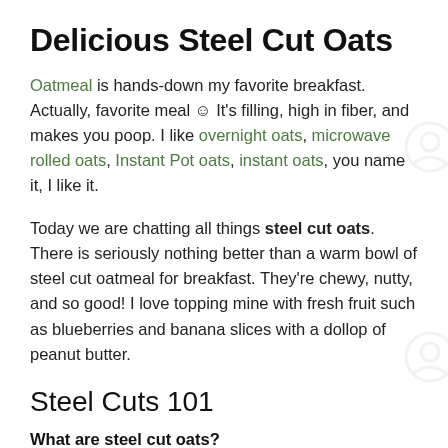Delicious Steel Cut Oats
Oatmeal is hands-down my favorite breakfast. Actually, favorite meal 😊 It's filling, high in fiber, and makes you poop. I like overnight oats, microwave rolled oats, Instant Pot oats, instant oats, you name it, I like it.
Today we are chatting all things steel cut oats. There is seriously nothing better than a warm bowl of steel cut oatmeal for breakfast. They're chewy, nutty, and so good! I love topping mine with fresh fruit such as blueberries and banana slices with a dollop of peanut butter.
Steel Cuts 101
What are steel cut oats?
Steel cut oats are whole oat groats cut into 3 or 4 pieces to create smaller oat groats. Steel-cut oats are also referred to as Irish or Scottish Oats.